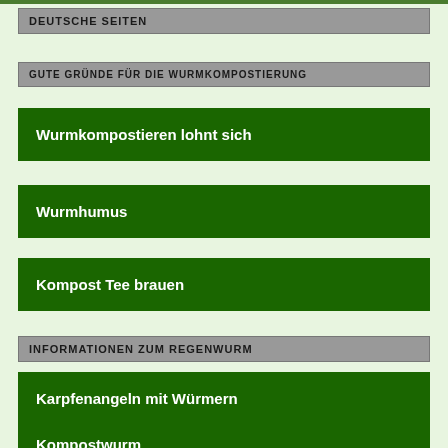DEUTSCHE SEITEN
GUTE GRÜNDE FÜR DIE WURMKOMPOSTIERUNG
Wurmkompostieren lohnt sich
Wurmhumus
Kompost Tee brauen
INFORMATIONEN ZUM REGENWURM
Karpfenangeln mit Würmern
Kompostwurm